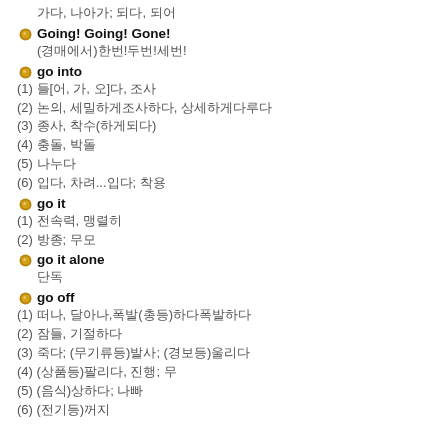가다, 나아가; 되다, 되어
Going! Going! Gone!
(경매에서)한번!두번!세번!
go into
(1) 들[어, 가, 오]다, 조사
(2) 논의, 세밀하게조사하다, 상세하게다루다
(3) 종사, 착수(하게되다)
(4) 충돌, 박돌
(5) 나누다
(6) 입다, 차려...입다; 착용
go it
(1) 전속력, 맹렬히
(2) 방종; 무모
go it alone
단독
go off
(1) 떠나, 달아나,폭발(총등)하다폭발하다
(2) 잠들, 기절하다
(3) 죽다; (무기류등)발사; (경보등)울리다
(4) (상품등)팔리다, 진행; 무
(5) (음식)상하다; 나빠
(6) (전기등)꺼지